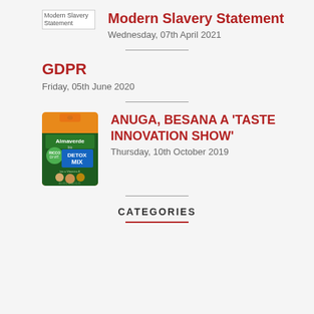[Figure (illustration): Thumbnail image placeholder for Modern Slavery Statement]
Modern Slavery Statement
Wednesday, 07th April 2021
GDPR
Friday, 05th June 2020
[Figure (photo): Almaverde Detox Mix product bag - orange top, green bottom with DETOX MIX text]
ANUGA, BESANA A 'TASTE INNOVATION SHOW'
Thursday, 10th October 2019
CATEGORIES